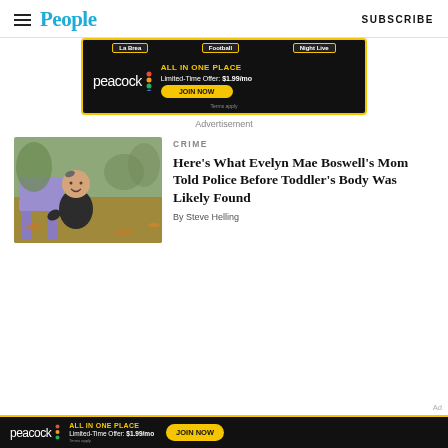People | SUBSCRIBE
[Figure (photo): Peacock advertisement banner with 'La Brea', 'Football', 'Night Live' tabs at top, peacock logo, 'ALL IN ONE PLACE Limited-Time Offer: $1.99/mo JOIN NOW' and 'Terms apply']
Advertisement
[Figure (photo): Photo of a smiling toddler girl with a bow in her hair sitting on a purple chair outdoors among autumn leaves]
CRIME
Here’s What Evelyn Mae Boswell’s Mom Told Police Before Toddler’s Body Was Likely Found
By Steve Helling
[Figure (photo): Peacock advertisement banner at bottom: 'ALL IN ONE PLACE Limited-Time Offer: $1.99/mo JOIN NOW Terms apply' with peacock logo]